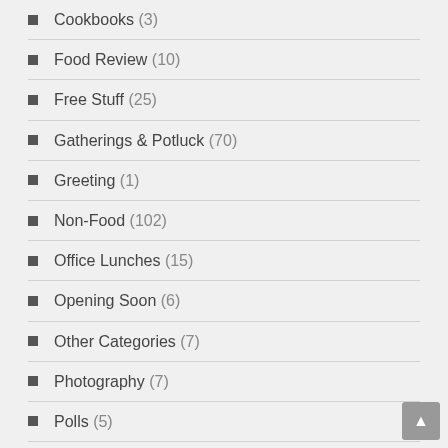Cookbooks (3)
Food Review (10)
Free Stuff (25)
Gatherings & Potluck (70)
Greeting (1)
Non-Food (102)
Office Lunches (15)
Opening Soon (6)
Other Categories (7)
Photography (7)
Polls (5)
Running (2)
Summer Event (7)